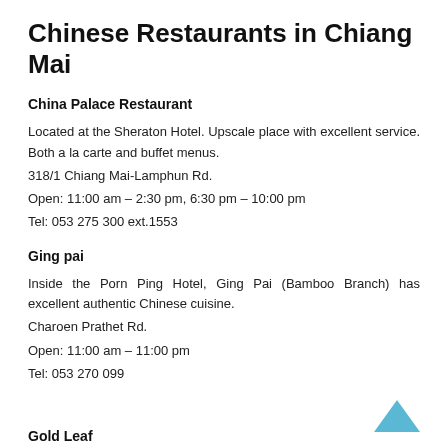Chinese Restaurants in Chiang Mai
China Palace Restaurant
Located at the Sheraton Hotel. Upscale place with excellent service. Both a la carte and buffet menus.
318/1 Chiang Mai-Lamphun Rd.
Open: 11:00 am – 2:30 pm, 6:30 pm – 10:00 pm
Tel: 053 275 300 ext.1553
Ging pai
Inside the Porn Ping Hotel, Ging Pai (Bamboo Branch) has excellent authentic Chinese cuisine.
Charoen Prathet Rd.
Open: 11:00 am – 11:00 pm
Tel: 053 270 099
Gold Leaf